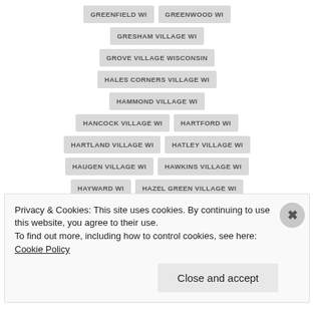GREENFIELD WI
GREENWOOD WI
GRESHAM VILLAGE WI
GROVE VILLAGE WISCONSIN
HALES CORNERS VILLAGE WI
HAMMOND VILLAGE WI
HANCOCK VILLAGE WI
HARTFORD WI
HARTLAND VILLAGE WI
HATLEY VILLAGE WI
HAUGEN VILLAGE WI
HAWKINS VILLAGE WI
HAYWARD WI
HAZEL GREEN VILLAGE WI
HEBRON WI
HELENVILLE WI
HEWITT VILLAGE WI
HIGHLAND VILLAGE WI
Privacy & Cookies: This site uses cookies. By continuing to use this website, you agree to their use.
To find out more, including how to control cookies, see here: Cookie Policy
Close and accept